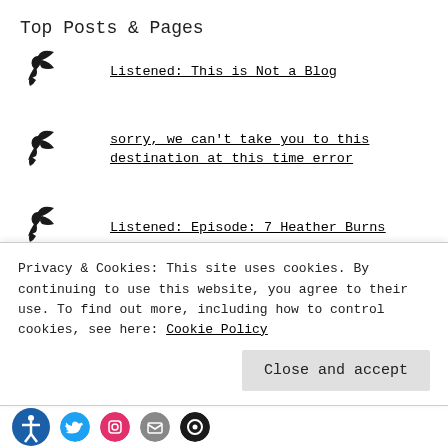Top Posts & Pages
Listened: This is Not a Blog
sorry, we can't take you to this destination at this time error
Listened: Episode: 7 Heather Burns
Elephant Hawk Moth caterpillar
Liked:nutshell
Privacy & Cookies: This site uses cookies. By continuing to use this website, you agree to their use. To find out more, including how to control cookies, see here: Cookie Policy
Close and accept